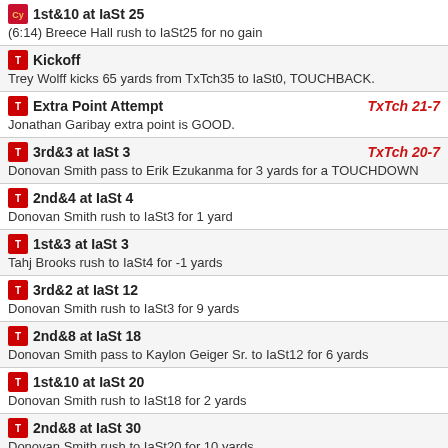1st&10 at IaSt 25 — (6:14) Breece Hall rush to IaSt25 for no gain
Kickoff — Trey Wolff kicks 65 yards from TxTch35 to IaSt0, TOUCHBACK.
Extra Point Attempt TxTch 21-7 — Jonathan Garibay extra point is GOOD.
3rd&3 at IaSt 3 TxTch 20-7 — Donovan Smith pass to Erik Ezukanma for 3 yards for a TOUCHDOWN
2nd&4 at IaSt 4 — Donovan Smith rush to IaSt3 for 1 yard
1st&3 at IaSt 3 — Tahj Brooks rush to IaSt4 for -1 yards
3rd&2 at IaSt 12 — Donovan Smith rush to IaSt3 for 9 yards
2nd&8 at IaSt 18 — Donovan Smith pass to Kaylon Geiger Sr. to IaSt12 for 6 yards
1st&10 at IaSt 20 — Donovan Smith rush to IaSt18 for 2 yards
2nd&8 at IaSt 30 — Donovan Smith rush to IaSt20 for 10 yards